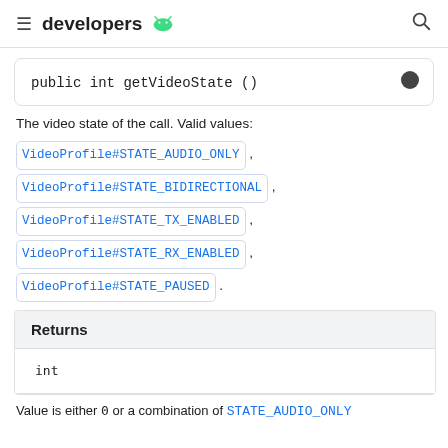developers
public int getVideoState ()
The video state of the call. Valid values:
VideoProfile#STATE_AUDIO_ONLY ,
VideoProfile#STATE_BIDIRECTIONAL ,
VideoProfile#STATE_TX_ENABLED ,
VideoProfile#STATE_RX_ENABLED ,
VideoProfile#STATE_PAUSED .
| Returns |
| --- |
| int |
Value is either 0 or a combination of STATE_AUDIO_ONLY